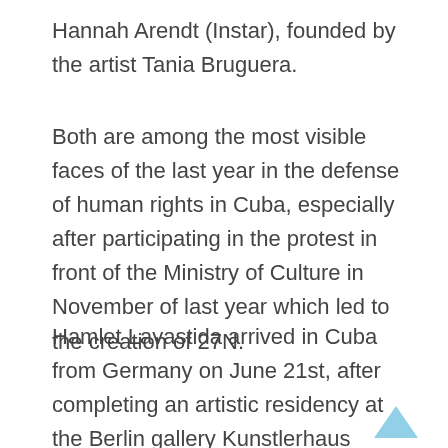Hannah Arendt (Instar), founded by the artist Tania Bruguera.
Both are among the most visible faces of the last year in the defense of human rights in Cuba, especially after participating in the protest in front of the Ministry of Culture in November of last year which led to the creation of 27N.
Hamlet Lavastida arrived in Cuba from Germany on June 21st, after completing an artistic residency at the Berlin gallery Kunstlerhaus Bethanien. The young man had already completed his six days of